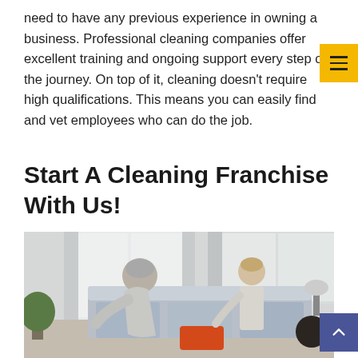need to have any previous experience in owning a business. Professional cleaning companies offer excellent training and ongoing support every step of the journey. On top of it, cleaning doesn't require high qualifications. This means you can easily find and vet employees who can do the job.
Start A Cleaning Franchise With Us!
[Figure (photo): Photo of an older man with grey hair leaning over a sofa and a young boy standing on the sofa, in a bright living room interior with windows and curtains in the background.]